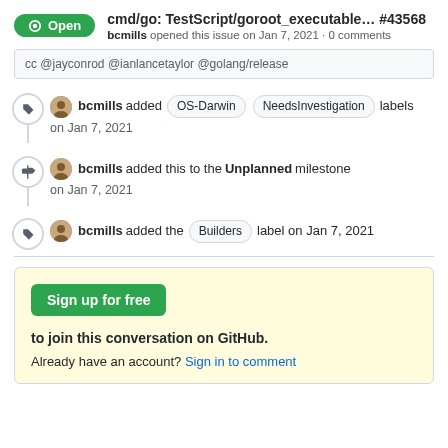cmd/go: TestScript/goroot_executable... #43568 — bcmills opened this issue on Jan 7, 2021 · 0 comments
cc @jayconrod @ianlancetaylor @golang/release
bcmills added OS-Darwin NeedsInvestigation labels on Jan 7, 2021
bcmills added this to the Unplanned milestone on Jan 7, 2021
bcmills added the Builders label on Jan 7, 2021
Sign up for free to join this conversation on GitHub. Already have an account? Sign in to comment